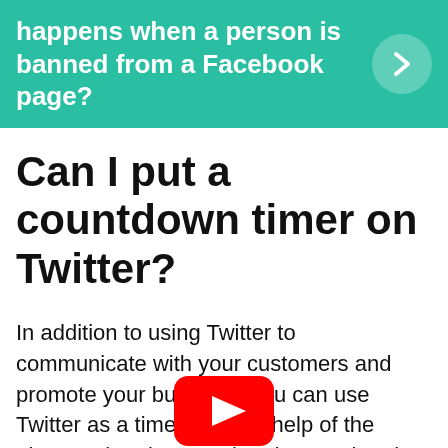happens when a person is banned from a Facebook page?
Can I put a countdown timer on Twitter?
In addition to using Twitter to communicate with your customers and promote your business, you can use Twitter as a timer with the help of the Timer Twitter bot. … The Timer Twitter bot works by sending you a direct message at a time you specify.
[Figure (logo): YouTube play button logo in red and white]